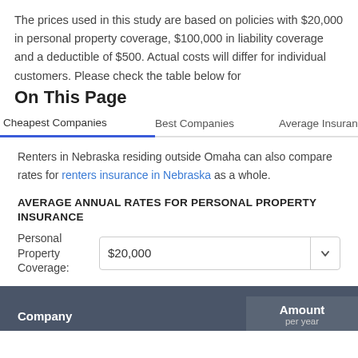The prices used in this study are based on policies with $20,000 in personal property coverage, $100,000 in liability coverage and a deductible of $500. Actual costs will differ for individual customers. Please check the table below for
On This Page
Cheapest Companies | Best Companies | Average Insuran
Renters in Nebraska residing outside Omaha can also compare rates for renters insurance in Nebraska as a whole.
AVERAGE ANNUAL RATES FOR PERSONAL PROPERTY INSURANCE
Personal Property Coverage: $20,000
| Company | Amount per year |
| --- | --- |